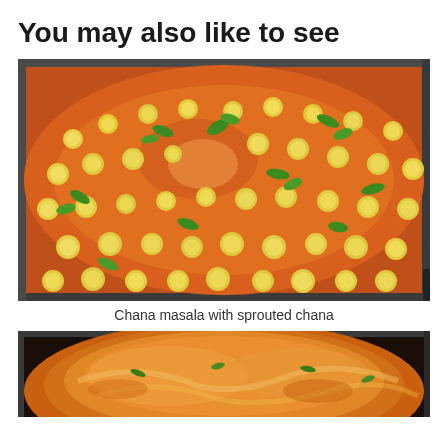You may also like to see
[Figure (photo): A pot of chana masala (chickpea curry) with sprouted chana in orange-red tomato gravy, garnished with chopped green coriander leaves, viewed from above.]
Chana masala with sprouted chana
[Figure (photo): A pot of orange-yellow curry dish, partially visible at the bottom of the page, showing a rich creamy curry with herbs.]